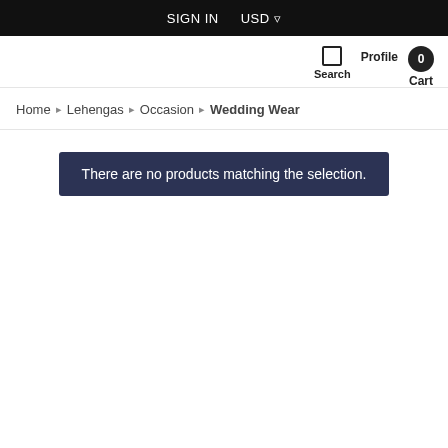SIGN IN   USD ▾
Search  Profile  Cart 0
Home › Lehengas › Occasion › Wedding Wear
There are no products matching the selection.